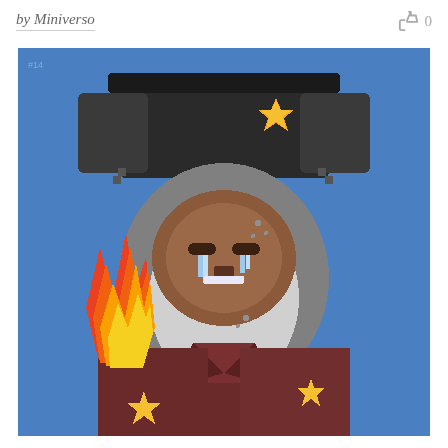by Miniverso
0
[Figure (illustration): Pixel art illustration of an anthropomorphic shark/creature wearing a dark fur hat with a gold star badge, a dark reddish-brown jacket with yellow star pins, with fire/flames visible on the left side. The character has a round grey face with a crying expression showing tears, set against a bright blue background. A small '#14' label appears in the top-left corner of the image.]